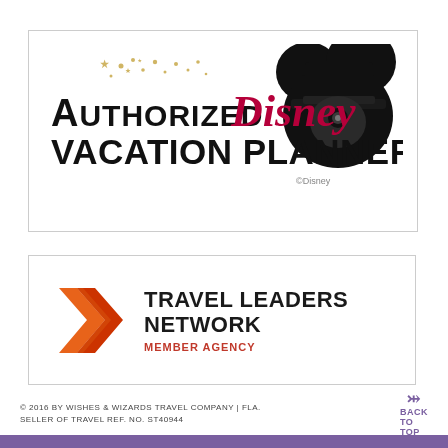[Figure (logo): Authorized Disney Vacation Planner logo with Mickey Mouse ears silhouette, sparkles, and red Disney script lettering. Copyright Disney.]
[Figure (logo): Travel Leaders Network Member Agency logo with orange/red arrow chevron icon and bold black text.]
© 2016 BY WISHES & WIZARDS TRAVEL COMPANY | FLA. SELLER OF TRAVEL REF. NO. ST40944
BACK TO TOP